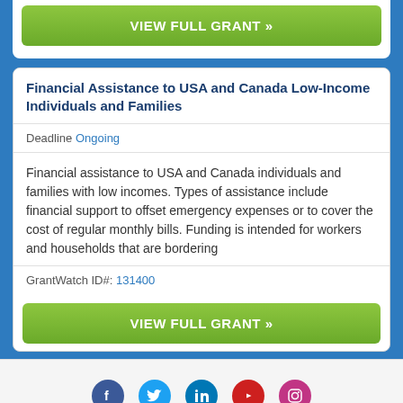[Figure (other): Green 'VIEW FULL GRANT »' button at top (partial, from card above)]
Financial Assistance to USA and Canada Low-Income Individuals and Families
Deadline Ongoing
Financial assistance to USA and Canada individuals and families with low incomes. Types of assistance include financial support to offset emergency expenses or to cover the cost of regular monthly bills. Funding is intended for workers and households that are bordering
GrantWatch ID#: 131400
[Figure (other): Green 'VIEW FULL GRANT »' button]
[Figure (other): Social media icons row: Facebook, Twitter, LinkedIn, YouTube, Instagram]